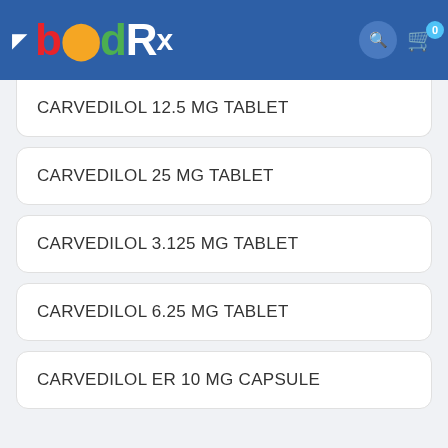bödRx
CARVEDILOL 12.5 MG TABLET
CARVEDILOL 25 MG TABLET
CARVEDILOL 3.125 MG TABLET
CARVEDILOL 6.25 MG TABLET
CARVEDILOL ER 10 MG CAPSULE